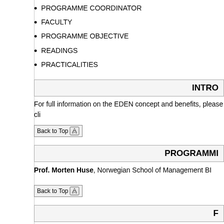PROGRAMME COORDINATOR
FACULTY
PROGRAMME OBJECTIVE
READINGS
PRACTICALITIES
INTRO
For full information on the EDEN concept and benefits, please cli
Back to Top
PROGRAMMI
Prof. Morten Huse, Norwegian School of Management BI
Back to Top
F
Professor Morten Huse,Norwegian School of Managment BI/To
Professor Hans van Ees, University of Groningen
Professor Alessandro Zattoni, SDA Bocconi and Parthenons I